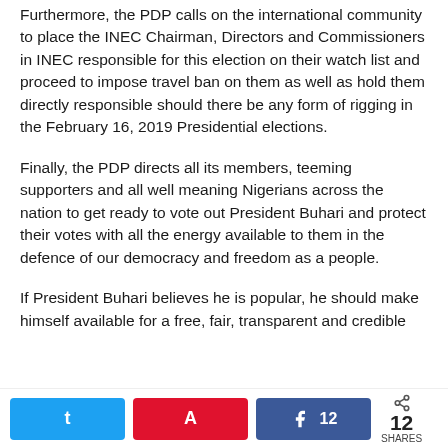Furthermore, the PDP calls on the international community to place the INEC Chairman, Directors and Commissioners in INEC responsible for this election on their watch list and proceed to impose travel ban on them as well as hold them directly responsible should there be any form of rigging in the February 16, 2019 Presidential elections.
Finally, the PDP directs all its members, teeming supporters and all well meaning Nigerians across the nation to get ready to vote out President Buhari and protect their votes with all the energy available to them in the defence of our democracy and freedom as a people.
If President Buhari believes he is popular, he should make himself available for a free, fair, transparent and credible
[Figure (other): Social share bar with Twitter, Pinterest, Facebook buttons and share count of 12]